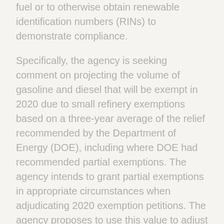fuel or to otherwise obtain renewable identification numbers (RINs) to demonstrate compliance.
Specifically, the agency is seeking comment on projecting the volume of gasoline and diesel that will be exempt in 2020 due to small refinery exemptions based on a three-year average of the relief recommended by the Department of Energy (DOE), including where DOE had recommended partial exemptions. The agency intends to grant partial exemptions in appropriate circumstances when adjudicating 2020 exemption petitions. The agency proposes to use this value to adjust the way we calculate